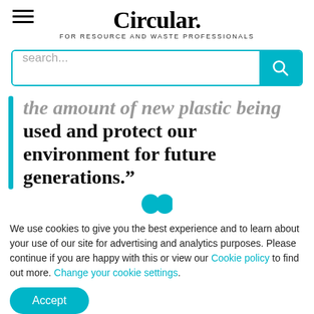Circular. FOR RESOURCE AND WASTE PROFESSIONALS
[Figure (screenshot): Search bar with teal background search button and magnifying glass icon]
the amount of new plastic being used and protect our environment for future generations.”
[Figure (illustration): Two teal quotation mark icons]
We use cookies to give you the best experience and to learn about your use of our site for advertising and analytics purposes. Please continue if you are happy with this or view our Cookie policy to find out more. Change your cookie settings.
Accept